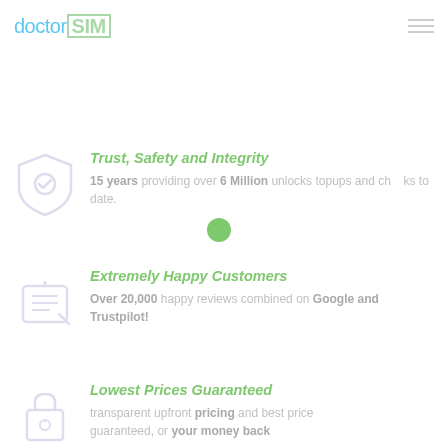doctorSIM
Trust, Safety and Integrity
15 years providing over 6 Million unlocks topups and checks to date.
Extremely Happy Customers
Over 20,000 happy reviews combined on Google and Trustpilot!
Lowest Prices Guaranteed
transparent upfront pricing and best price guaranteed, or your money back